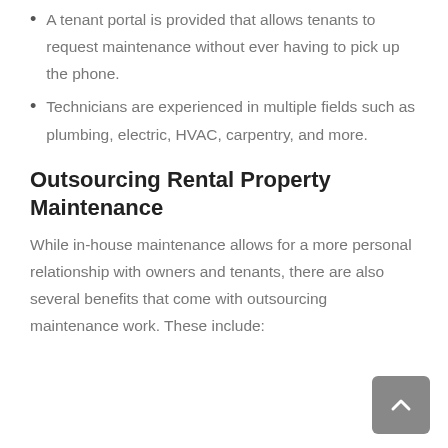A tenant portal is provided that allows tenants to request maintenance without ever having to pick up the phone.
Technicians are experienced in multiple fields such as plumbing, electric, HVAC, carpentry, and more.
Outsourcing Rental Property Maintenance
While in-house maintenance allows for a more personal relationship with owners and tenants, there are also several benefits that come with outsourcing maintenance work. These include: